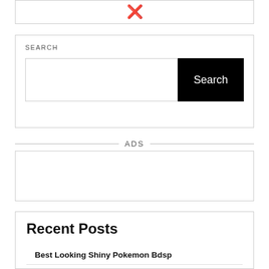[Figure (other): A close/dismiss button (circled X icon) inside a bordered box at the top of the page]
SEARCH
[Figure (screenshot): Search widget with a text input field and a black Search button]
ADS
[Figure (other): Empty ADS content box with border]
Recent Posts
Best Looking Shiny Pokemon Bdsp
How To Unblock Omegle Camera